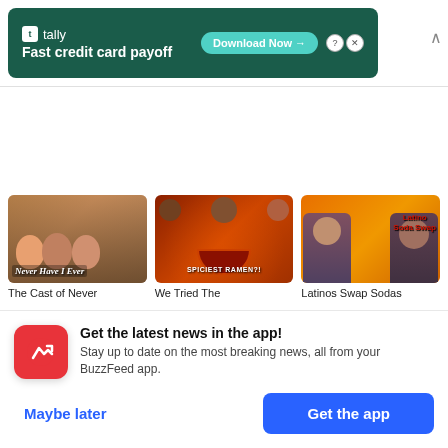[Figure (screenshot): Tally app advertisement banner with green background. Logo reads 'tally' with tagline 'Fast credit card payoff' and a 'Download Now' button.]
[Figure (screenshot): Three video thumbnails in a horizontal row. First: 'Never Have I Ever' show thumbnail with three people. Second: 'Spiciest Ramen?!' thumbnail with people eating ramen. Third: 'Latino Soda Swap' thumbnail with orange background.]
The Cast of Never
We Tried The
Latinos Swap Sodas
Get the latest news in the app! Stay up to date on the most breaking news, all from your BuzzFeed app.
Maybe later
Get the app